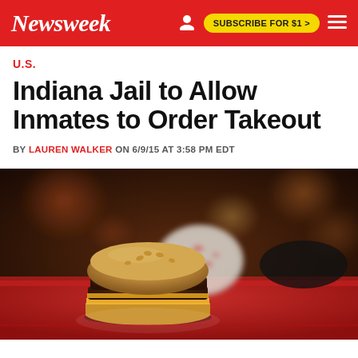Newsweek | SUBSCRIBE FOR $1 >
U.S.
Indiana Jail to Allow Inmates to Order Takeout
BY LAUREN WALKER ON 6/9/15 AT 3:58 PM EDT
[Figure (photo): Close-up photo of a double cheeseburger on a red tray with a wrapped item in the background, taken in a fast food restaurant setting with warm bokeh lighting.]